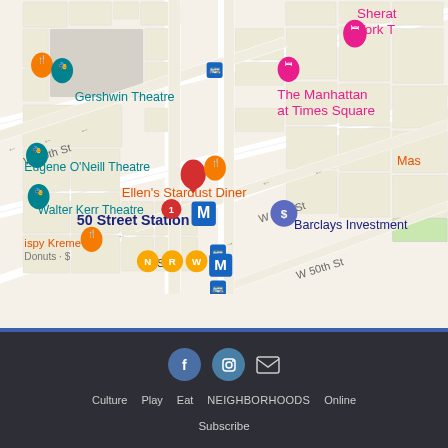[Figure (map): Google Maps view of Midtown Manhattan around Times Square, showing streets W 50th St, W 51st St, 49 St, locations including Gershwin Theatre, Ellen's Stardust Diner, The Manhattan at Times Square, Sheraton New York T, 50 Street Station (subway M), Eugene O'Neill Theatre, Walter Kerr Theatre, Barclays Investment, Krispy Kreme Donuts, 49 St subway station (N R W M lines)]
Facebook | Instagram | Email | Culture | Play | Eat | NEIGHBORHOODS | Online | Subscribe